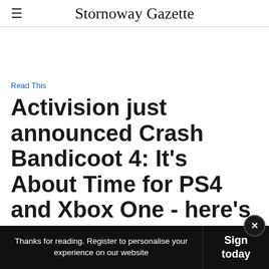≡  Stornoway Gazette
Read This
Activision just announced Crash Bandicoot 4: It's About Time for PS4 and Xbox One - here's everything we know
Thanks for reading. Register to personalise your experience on our website